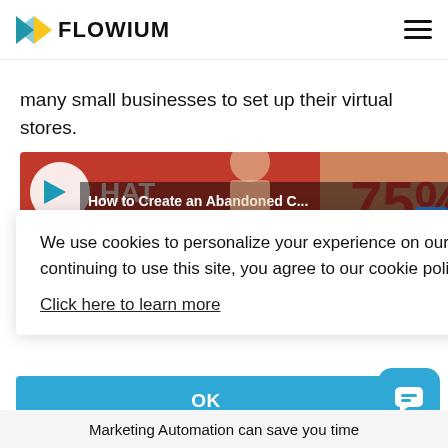FLOWIUM
many small businesses to set up their virtual stores.
[Figure (screenshot): Video thumbnail showing 'How to Create an Abandoned C...' with a person and red text showing '75%' in the background, and a Flowium logo.]
We use cookies to personalize your experience on our website. By continuing to use this site, you agree to our cookie policy.
Click here to learn more
OK
Marketing Automation can save you time